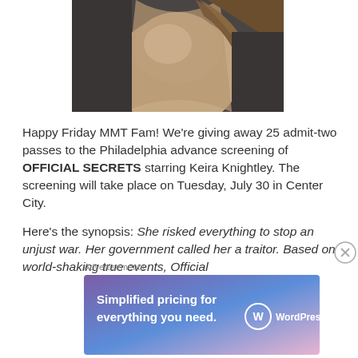[Figure (photo): Close-up photo of a person wearing a beige/tan scarf and dark coat, with long hair visible. Only the neck and lower head area are visible.]
Happy Friday MMT Fam! We're giving away 25 admit-two passes to the Philadelphia advance screening of OFFICIAL SECRETS starring Keira Knightley. The screening will take place on Tuesday, July 30 in Center City.
Here's the synopsis: She risked everything to stop an unjust war. Her government called her a traitor. Based on world-shaking true events, Official
Advertisements
[Figure (screenshot): WordPress.com advertisement banner with purple-to-pink gradient background. Text reads: Simplified pricing for everything you need. WordPress.com logo on the right.]